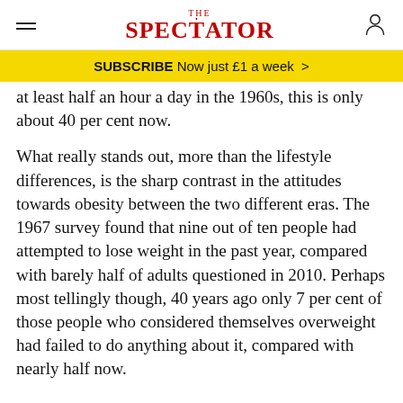THE SPECTATOR
SUBSCRIBE Now just £1 a week >
at least half an hour a day in the 1960s, this is only about 40 per cent now.
What really stands out, more than the lifestyle differences, is the sharp contrast in the attitudes towards obesity between the two different eras. The 1967 survey found that nine out of ten people had attempted to lose weight in the past year, compared with barely half of adults questioned in 2010. Perhaps most tellingly though, 40 years ago only 7 per cent of those people who considered themselves overweight had failed to do anything about it, compared with nearly half now.